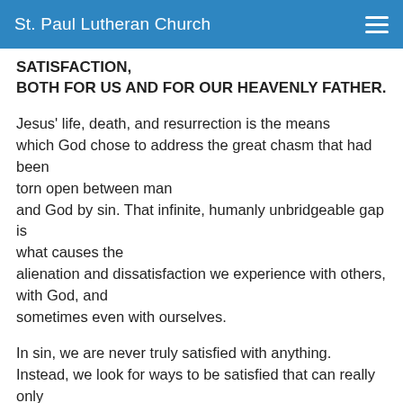St. Paul Lutheran Church
SATISFACTION,
BOTH FOR US AND FOR OUR HEAVENLY FATHER.
Jesus' life, death, and resurrection is the means which God chose to address the great chasm that had been torn open between man and God by sin. That infinite, humanly unbridgeable gap is what causes the alienation and dissatisfaction we experience with others, with God, and sometimes even with ourselves.
In sin, we are never truly satisfied with anything. Instead, we look for ways to be satisfied that can really only dull the pain, avoid the confrontation, or substitute false sources of